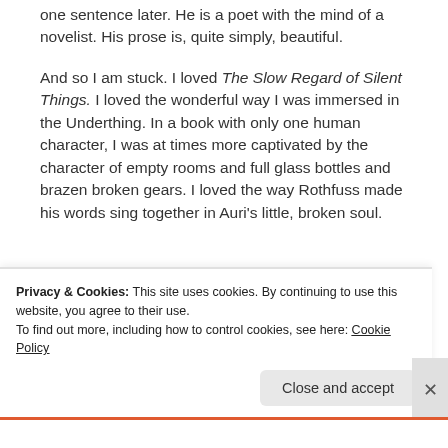one sentence later. He is a poet with the mind of a novelist. His prose is, quite simply, beautiful.
And so I am stuck. I loved The Slow Regard of Silent Things. I loved the wonderful way I was immersed in the Underthing. In a book with only one human character, I was at times more captivated by the character of empty rooms and full glass bottles and brazen broken gears. I loved the way Rothfuss made his words sing together in Auri's little, broken soul.
Privacy & Cookies: This site uses cookies. By continuing to use this website, you agree to their use.
To find out more, including how to control cookies, see here: Cookie Policy